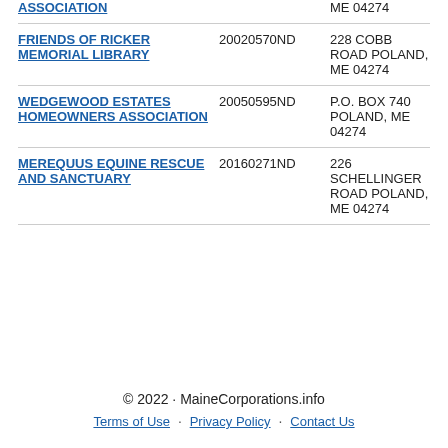| Name | ID | Address |
| --- | --- | --- |
| ASSOCIATION |  | ME 04274 |
| FRIENDS OF RICKER MEMORIAL LIBRARY | 20020570ND | 228 COBB ROAD POLAND, ME 04274 |
| WEDGEWOOD ESTATES HOMEOWNERS ASSOCIATION | 20050595ND | P.O. BOX 740 POLAND, ME 04274 |
| MEREQUUS EQUINE RESCUE AND SANCTUARY | 20160271ND | 226 SCHELLINGER ROAD POLAND, ME 04274 |
© 2022 · MaineCorporations.info · Terms of Use · Privacy Policy · Contact Us